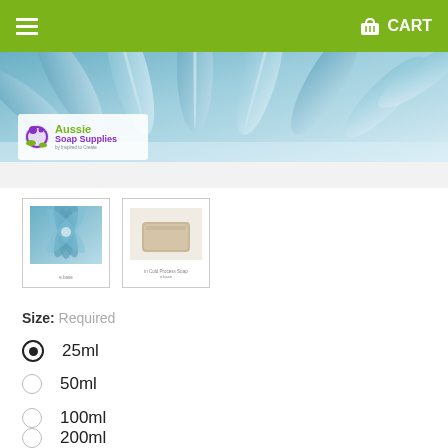CART
[Figure (photo): Blue agave/flower close-up photo used as banner header image with Aussie Soap Supplies logo overlay]
[Figure (photo): Thumbnail 1: Blue agave/flower close-up]
[Figure (photo): Thumbnail 2: A bar of cold process soap]
Size: Required
25ml (selected)
50ml
100ml
200ml